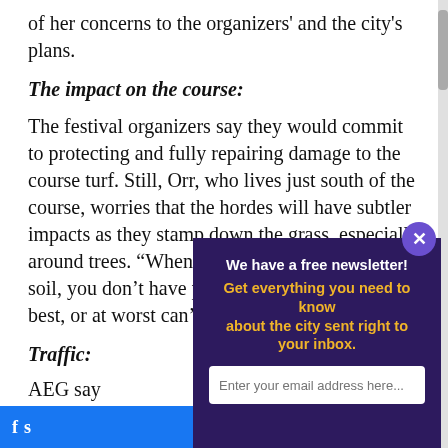of her concerns to the organizers' and the city's plans.
The impact on the course:
The festival organizers say they would commit to protecting and fully repairing damage to the course turf. Still, Orr, who lives just south of the course, worries that the hordes will have subtler impacts as they stamp down the grass, especially around trees. “When you have compaction of soil, you don’t have plants that can thrive, at best, or at worst can’t survive,” she said.
Traffic:
AEG say… to keep…
[Figure (infographic): Newsletter popup overlay with dark purple background. Text reads: 'We have a free newsletter! Get everything you need to know about the city sent right to your inbox.' with an email input field below. A close button (X) appears in the top-right corner.]